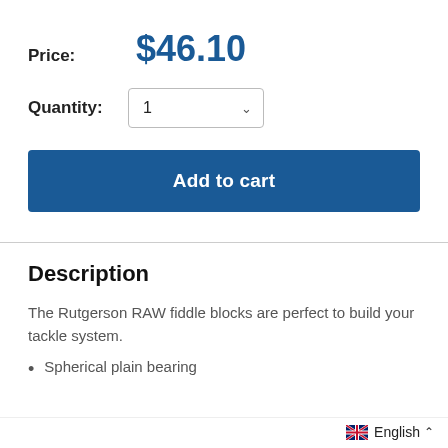Price: $46.10
Quantity: 1
Add to cart
Description
The Rutgerson RAW fiddle blocks are perfect to build your tackle system.
Spherical plain bearing
English